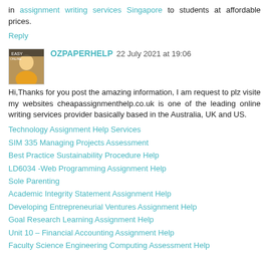in assignment writing services Singapore to students at affordable prices.
Reply
OZPAPERHELP 22 July 2021 at 19:06
Hi,Thanks for you post the amazing information, I am request to plz visite my websites cheapassignmenthelp.co.uk is one of the leading online writing services provider basically based in the Australia, UK and US.
Technology Assignment Help Services
SIM 335 Managing Projects Assessment
Best Practice Sustainability Procedure Help
LD6034 -Web Programming Assignment Help
Sole Parenting
Academic Integrity Statement Assignment Help
Developing Entrepreneurial Ventures Assignment Help
Goal Research Learning Assignment Help
Unit 10 – Financial Accounting Assignment Help
Faculty Science Engineering Computing Assessment Help